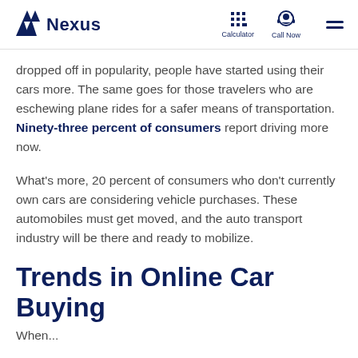Nexus | Calculator | Call Now
dropped off in popularity, people have started using their cars more. The same goes for those travelers who are eschewing plane rides for a safer means of transportation. Ninety-three percent of consumers report driving more now.
What's more, 20 percent of consumers who don't currently own cars are considering vehicle purchases. These automobiles must get moved, and the auto transport industry will be there and ready to mobilize.
Trends in Online Car Buying
When...